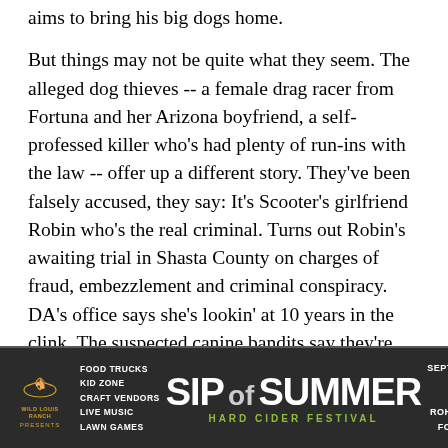aims to bring his big dogs home.

But things may not be quite what they seem. The alleged dog thieves -- a female drag racer from Fortuna and her Arizona boyfriend, a self-professed killer who's had plenty of run-ins with the law -- offer up a different story. They've been falsely accused, they say: It's Scooter's girlfriend Robin who's the real criminal. Turns out Robin's awaiting trial in Shasta County on charges of fraud, embezzlement and criminal conspiracy. DA's office says she's lookin' at 10 years in the clink. The suspected canine bandits say they're actually in cahoots with the prosecution. They'd been gathering evidence against Robin on the sly, they say, but were discovered by Scooter and had to flee for their lives. According to the
[Figure (infographic): Advertisement banner for 'Sip of Summer Hard Cider Festival' by Wild Roots Ranch. September 24, 2022, 1PM-5PM, Rohner Park, Fortuna CA. Features food trucks, kid zone, craft vendors, live music, lawn games.]